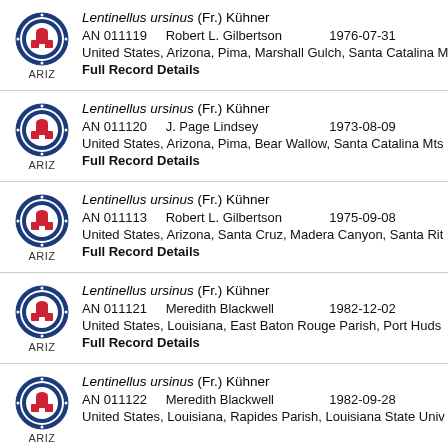Lentinellus ursinus (Fr.) Kühner | AN 011119 | Robert L. Gilbertson | 1976-07-31 | United States, Arizona, Pima, Marshall Gulch, Santa Catalina M... | Full Record Details
Lentinellus ursinus (Fr.) Kühner | AN 011120 | J. Page Lindsey | 1973-08-09 | United States, Arizona, Pima, Bear Wallow, Santa Catalina Mts... | Full Record Details
Lentinellus ursinus (Fr.) Kühner | AN 011113 | Robert L. Gilbertson | 1975-09-08 | United States, Arizona, Santa Cruz, Madera Canyon, Santa Rit... | Full Record Details
Lentinellus ursinus (Fr.) Kühner | AN 011121 | Meredith Blackwell | 1982-12-02 | United States, Louisiana, East Baton Rouge Parish, Port Huds... | Full Record Details
Lentinellus ursinus (Fr.) Kühner | AN 011122 | Meredith Blackwell | 1982-09-28 | United States, Louisiana, Rapides Parish, Louisiana State Univ...